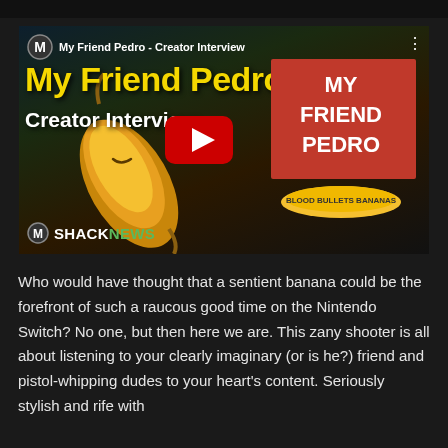[Figure (screenshot): YouTube video thumbnail for 'My Friend Pedro - Creator Interview' on ShackNews channel. Shows a banana character with guns, 'MY FRIEND PEDRO' logo, 'BLOOD BULLETS BANANAS' tagline, and a YouTube play button overlay.]
Who would have thought that a sentient banana could be the forefront of such a raucous good time on the Nintendo Switch? No one, but then here we are. This zany shooter is all about listening to your clearly imaginary (or is he?) friend and pistol-whipping dudes to your heart's content. Seriously stylish and rife with